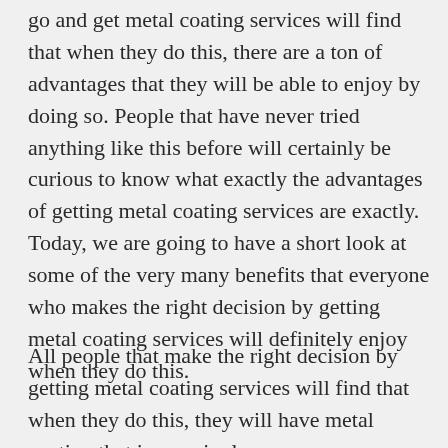go and get metal coating services will find that when they do this, there are a ton of advantages that they will be able to enjoy by doing so. People that have never tried anything like this before will certainly be curious to know what exactly the advantages of getting metal coating services are exactly. Today, we are going to have a short look at some of the very many benefits that everyone who makes the right decision by getting metal coating services will definitely enjoy when they do this.
All people that make the right decision by getting metal coating services will find that when they do this, they will have metal coating that is amazingly